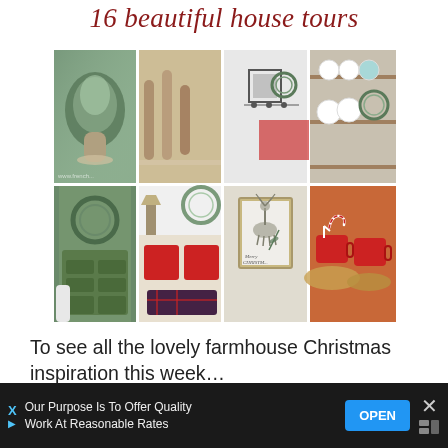16 beautiful house tours
[Figure (photo): A 2x4 grid collage of 8 farmhouse Christmas home interior photos including decorated trees, rolling pins, wreaths, shelves, bedroom with red pillows, reindeer art print, and Christmas mugs]
To see all the lovely farmhouse Christmas inspiration this week…
[Figure (screenshot): Advertisement banner: 'Our Purpose Is To Help Offer Quality Work At Reasonable Rates' with blue OPEN button and X close button on dark background]